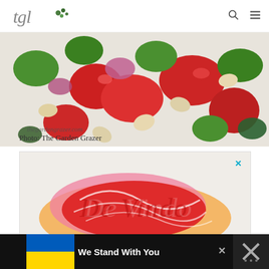tgl (The Garden Grazer) — navigation with search and menu icons
[Figure (photo): Close-up photo of a colorful bean and vegetable salad with tomatoes, green peppers, red onion, cucumbers, and white beans. Watermark reads thegardengrazer.com]
Photo: The Garden Grazer
[Figure (illustration): Advertisement with decorative red and pink swirling lettering on an orange/yellow background. A blue X close button is visible in the upper right.]
[Figure (infographic): Bottom black banner with Ukrainian flag (blue and yellow), bold white text reading 'We Stand With You', a close X button, and a dark icon panel on the right.]